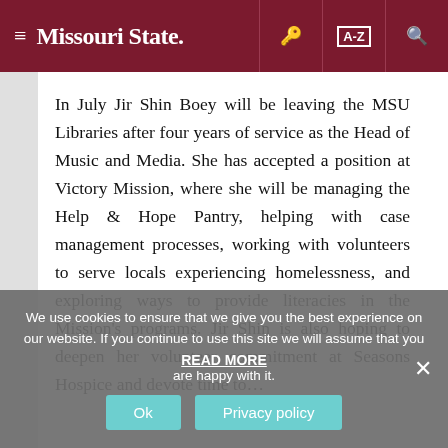≡ Missouri State. [key icon] [A-Z icon] [search icon]
In July Jir Shin Boey will be leaving the MSU Libraries after four years of service as the Head of Music and Media. She has accepted a position at Victory Mission, where she will be managing the Help & Hope Pantry, helping with case management processes, working with volunteers to serve locals experiencing homelessness, and exploring ways to provide literacies in the Mission's programs. Jir Shin is also hoping to deepen her volunteer commitment at Seasons Hospice and devote time to…
We use cookies to ensure that we give you the best experience on our website. If you continue to use this site we will assume that you are happy with it.
READ MORE
Ok
Privacy policy